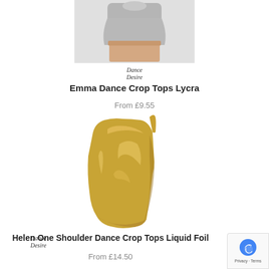[Figure (photo): Partial photo of a person wearing a grey/white crop top, cropped at torso level showing skin-toned bottom]
[Figure (logo): Dance Desire brand script logo]
Emma Dance Crop Tops Lycra
From £9.55
[Figure (photo): Gold/metallic liquid foil one-shoulder dance crop top on a mannequin/model form]
[Figure (logo): Dance Desire brand script logo]
Helen One Shoulder Dance Crop Tops Liquid Foil
From £14.50